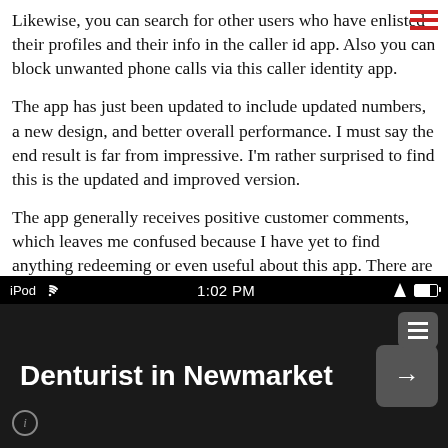Likewise, you can search for other users who have enlisted their profiles and their info in the caller id app. Also you can block unwanted phone calls via this caller identity app.
The app has just been updated to include updated numbers, a new design, and better overall performance. I must say the end result is far from impressive. I'm rather surprised to find this is the updated and improved version.
The app generally receives positive customer comments, which leaves me confused because I have yet to find anything redeeming or even useful about this app. There are plenty of other, and better options, available that actually work and are free as well.
[Figure (screenshot): iPhone/iPod screenshot showing status bar with 'iPod', wifi signal, '1:02 PM', location arrow, and battery icon. Below is a dark app screen showing 'Denturist in Newmarket' in bold white text with a navigation arrow button on the right and an info button on the lower left.]